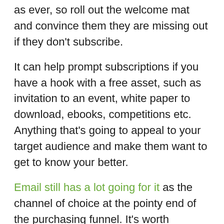as ever, so roll out the welcome mat and convince them they are missing out if they don't subscribe.
It can help prompt subscriptions if you have a hook with a free asset, such as invitation to an event, white paper to download, ebooks, competitions etc. Anything that's going to appeal to your target audience and make them want to get to know your better.
Email still has a lot going for it as the channel of choice at the pointy end of the purchasing funnel. It's worth investing in your lists to make sure you have the right audiences to increase your ROI from your email list.